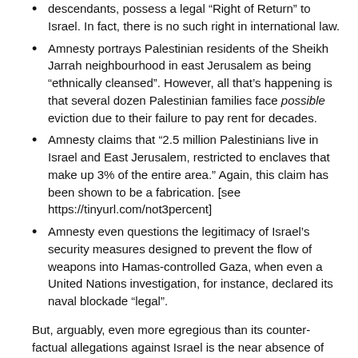descendants, possess a legal “Right of Return” to Israel. In fact, there is no such right in international law.
Amnesty portrays Palestinian residents of the Sheikh Jarrah neighbourhood in east Jerusalem as being “ethnically cleansed”. However, all that’s happening is that several dozen Palestinian families face possible eviction due to their failure to pay rent for decades.
Amnesty claims that “2.5 million Palestinians live in Israel and East Jerusalem, restricted to enclaves that make up 3% of the entire area.” Again, this claim has been shown to be a fabrication. [see https://tinyurl.com/not3percent]
Amnesty even questions the legitimacy of Israel’s security measures designed to prevent the flow of weapons into Hamas-controlled Gaza, when even a United Nations investigation, for instance, declared its naval blockade “legal”.
But, arguably, even more egregious than its counter-factual allegations against Israel is the near absence of any context on the Arab wars, Palestinian terrorism and Palestinian leadership’s repeated rejection of peace offers which have led to the current territorial, political and security situation.